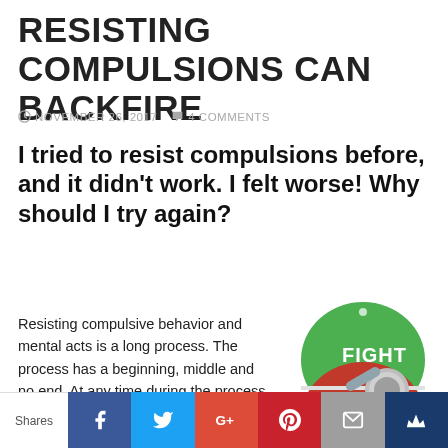RESISTING COMPULSIONS CAN BACKFIRE
NOVEMBER 26, 2017   4 COMMENTS
I tried to resist compulsions before, and it didn't work. I felt worse! Why should I try again?
Resisting compulsive behavior and mental acts is a long process. The process has a beginning, middle and no end. At any time during the process you can:
[Figure (illustration): A toggle switch with green 'FIGHT' label on top and red 'GIVE IN' label on bottom, with a metallic lever in the middle position.]
expect to have setbacks
Shares | Facebook | Twitter | Google+ | Pinterest | Email | Crown